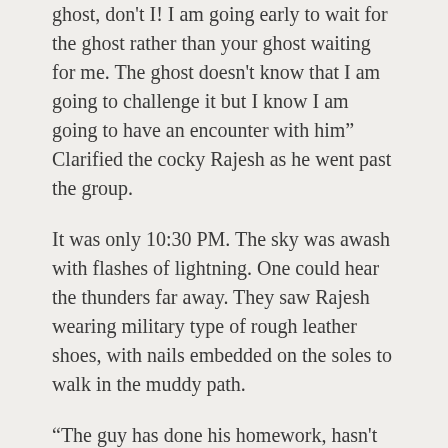ghost, don't I! I am going early to wait for the ghost rather than your ghost waiting for me. The ghost doesn't know that I am going to challenge it but I know I am going to have an encounter with him” Clarified the cocky Rajesh as he went past the group.
It was only 10:30 PM. The sky was awash with flashes of lightning. One could hear the thunders far away. They saw Rajesh wearing military type of rough leather shoes, with nails embedded on the soles to walk in the muddy path.
“The guy has done his homework, hasn’t he” Someone in the group commented.
“At least he would be able to run back with those shoes on sighting the ghost” theorized Motillal – the gardener-security guard for the colony.
Everyone watched in astonishment as the lone dog joined him